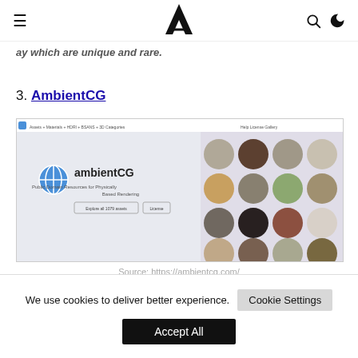≡  [logo A]  🔍 🌙
ay which are unique and rare.
3. AmbientCG
[Figure (screenshot): Screenshot of the AmbientCG website homepage showing the AmbientCG logo, tagline 'Public Domain Resources for Physically Based Rendering', buttons 'Explore all 1079 assets' and 'License', and a grid of material spheres on the right side.]
Source: https://ambientcg.com/
We use cookies to deliver better experience.   Cookie Settings   Accept All